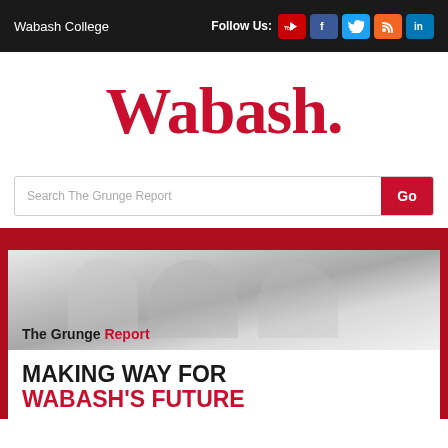Wabash College | Follow Us: [YouTube] [Facebook] [Twitter] [RSS] [LinkedIn]
Wabash.
Search The Grunge Report [Go]
[Figure (photo): Grayscale photo of men cheering/celebrating, with 'The Grunge Report' text overlay]
MAKING WAY FOR WABASH'S FUTURE